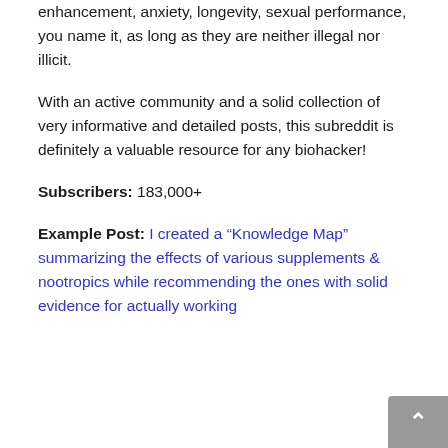enhancement, anxiety, longevity, sexual performance, you name it, as long as they are neither illegal nor illicit.
With an active community and a solid collection of very informative and detailed posts, this subreddit is definitely a valuable resource for any biohacker!
Subscribers: 183,000+
Example Post: I created a “Knowledge Map” summarizing the effects of various supplements & nootropics while recommending the ones with solid evidence for actually working